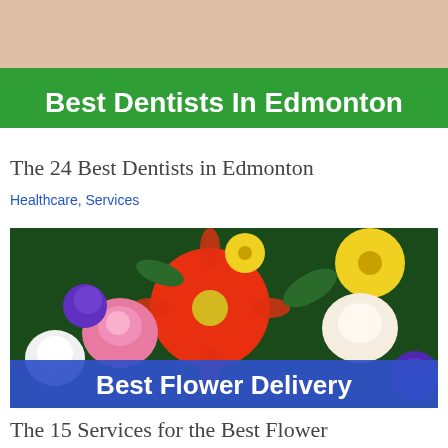[Figure (photo): Cropped photo of a person at a dentist, partially visible at top with green banner overlay reading 'Best Dentists In Edmonton']
The 24 Best Dentists in Edmonton
Healthcare, Services
[Figure (photo): Colorful arrangement of flowers including red gerbera daisy, yellow daisies, pink roses, white roses, purple flowers, with dark blue banner reading 'Best Flower Delivery']
The 15 Services for the Best Flower Delivery in Edmonton